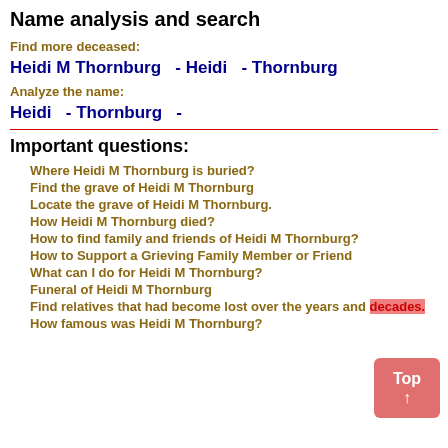Name analysis and search
Find more deceased:
Heidi M Thornburg   - Heidi   - Thornburg
Analyze the name:
Heidi   - Thornburg   -
Important questions:
Where Heidi M Thornburg is buried?
Find the grave of Heidi M Thornburg
Locate the grave of Heidi M Thornburg.
How Heidi M Thornburg died?
How to find family and friends of Heidi M Thornburg?
How to Support a Grieving Family Member or Friend
What can I do for Heidi M Thornburg?
Funeral of Heidi M Thornburg
Find relatives that had become lost over the years and decades.
How famous was Heidi M Thornburg?